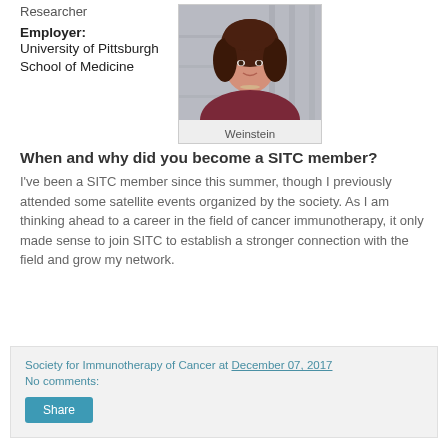Researcher
Employer: University of Pittsburgh School of Medicine
[Figure (photo): Portrait photo of Weinstein, a woman with curly dark hair wearing a dark red top, photographed against a blurred indoor background.]
Weinstein
When and why did you become a SITC member?
I've been a SITC member since this summer, though I previously attended some satellite events organized by the society. As I am thinking ahead to a career in the field of cancer immunotherapy, it only made sense to join SITC to establish a stronger connection with the field and grow my network.
Society for Immunotherapy of Cancer at December 07, 2017
No comments:
Share